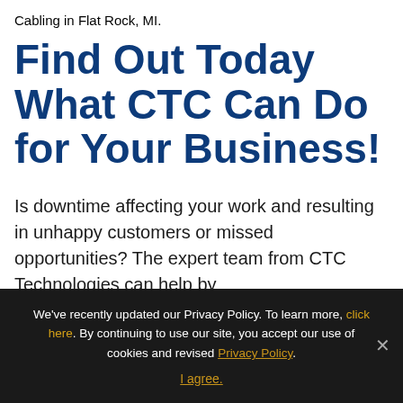Cabling in Flat Rock, MI.
Find Out Today What CTC Can Do for Your Business!
Is downtime affecting your work and resulting in unhappy customers or missed opportunities? The expert team from CTC Technologies can help by
We've recently updated our Privacy Policy. To learn more, click here. By continuing to use our site, you accept our use of cookies and revised Privacy Policy. I agree.